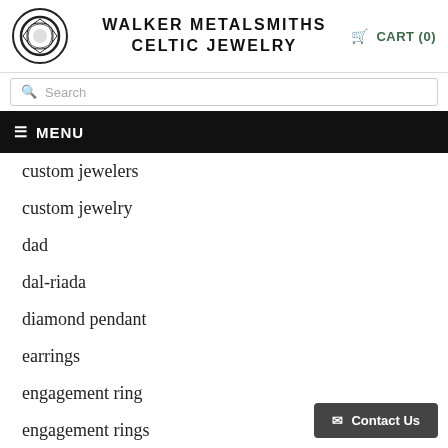WALKER METALSMITHS CELTIC JEWELRY
custom jewelers
custom jewelry
dad
dal-riada
diamond pendant
earrings
engagement ring
engagement rings
everglades
father
fathers day